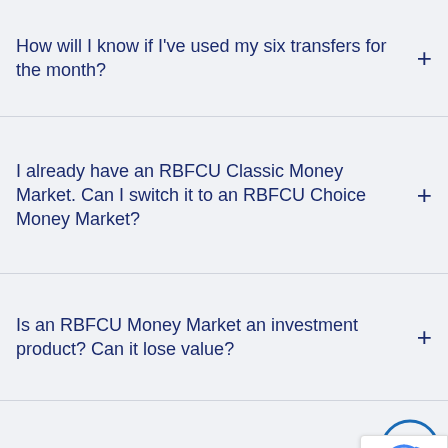How will I know if I've used my six transfers for the month?
I already have an RBFCU Classic Money Market. Can I switch it to an RBFCU Choice Money Market?
Is an RBFCU Money Market an investment product? Can it lose value?
What happens if I exceed six transfers from my Money Market account per month?
What's the difference between the